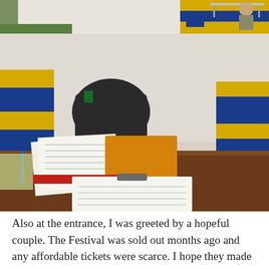[Figure (photo): Two photos: top strip shows a tent/outdoor festival area with blue and yellow fabric, chairs and a table visible. Main photo shows a smiling blonde woman sitting behind a registration desk inside a tent, with papers, binders, a water bottle, and a tablet device on the table. Blue and yellow tent fabric visible in background.]
Also at the entrance, I was greeted by a hopeful couple. The Festival was sold out months ago and any affordable tickets were scarce. I hope they made it in, but honestly next year you are all going to have to